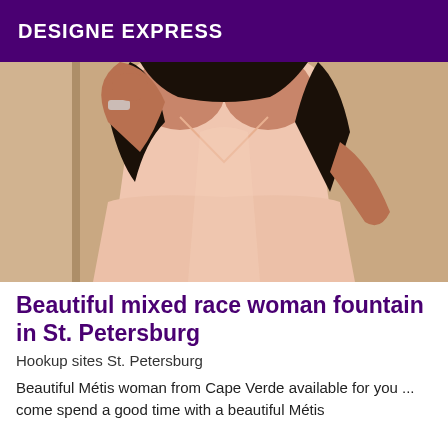DESIGNE EXPRESS
[Figure (photo): A woman in a pink/peach form-fitting dress photographed from neck to hip level, with dark hair, posing in front of a mirror or wall.]
Beautiful mixed race woman fountain in St. Petersburg
Hookup sites St. Petersburg
Beautiful Métis woman from Cape Verde available for you ... come spend a good time with a beautiful Métis